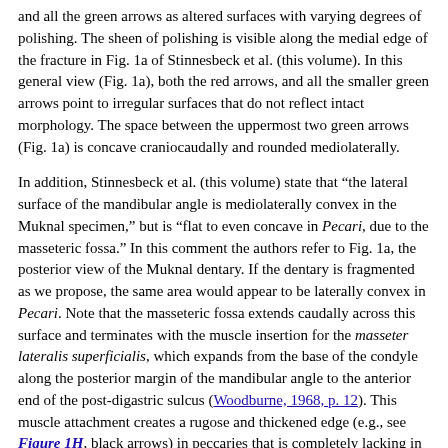and all the green arrows as altered surfaces with varying degrees of polishing. The sheen of polishing is visible along the medial edge of the fracture in Fig. 1a of Stinnesbeck et al. (this volume). In this general view (Fig. 1a), both the red arrows, and all the smaller green arrows point to irregular surfaces that do not reflect intact morphology. The space between the uppermost two green arrows (Fig. 1a) is concave craniocaudally and rounded mediolaterally.
In addition, Stinnesbeck et al. (this volume) state that "the lateral surface of the mandibular angle is mediolaterally convex in the Muknal specimen," but is "flat to even concave in Pecari, due to the masseteric fossa." In this comment the authors refer to Fig. 1a, the posterior view of the Muknal dentary. If the dentary is fragmented as we propose, the same area would appear to be laterally convex in Pecari. Note that the masseteric fossa extends caudally across this surface and terminates with the muscle insertion for the masseter lateralis superficialis, which expands from the base of the condyle along the posterior margin of the mandibular angle to the anterior end of the post-digastric sulcus (Woodburne, 1968, p. 12). This muscle attachment creates a rugose and thickened edge (e.g., see Figure 1H, black arrows) in peccaries that is completely lacking in the Muknal specimen. The relatively vertical mandibular angle proposed for Muknalia lacks evidence of a functional masseter lateralis superficialis.